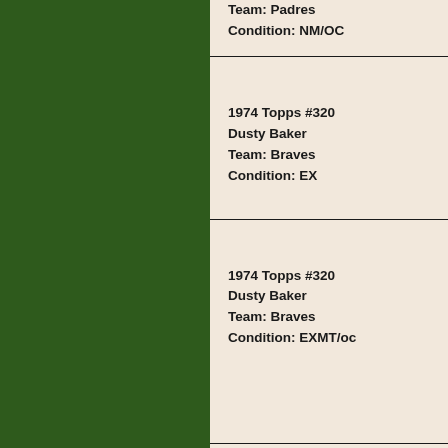Team: Padres
Condition: NM/OC
1974 Topps #320
Dusty Baker
Team: Braves
Condition: EX
1974 Topps #320
Dusty Baker
Team: Braves
Condition: EXMT/oc